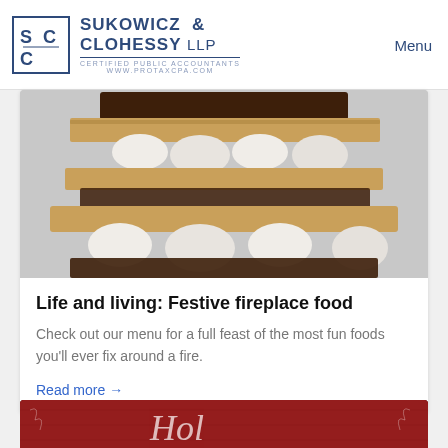Sukowicz & Clohessy LLP | Certified Public Accountants | www.protaxcpa.com | Menu
[Figure (photo): Close-up photo of stacked s'mores with chocolate, marshmallow and graham crackers]
Life and living: Festive fireplace food
Check out our menu for a full feast of the most fun foods you'll ever fix around a fire.
Read more →
[Figure (photo): Partial red decorative holiday image visible at bottom of page]